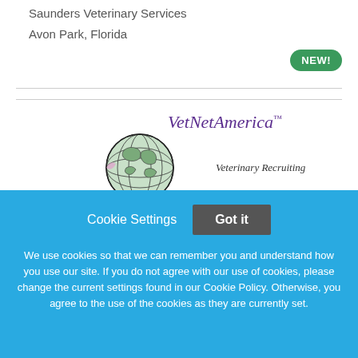Saunders Veterinary Services
Avon Park, Florida
[Figure (logo): Green rounded badge with white bold text 'NEW!']
[Figure (logo): VetNetAmerica logo with globe illustration and italic text 'Veterinary Recruiting']
Cookie Settings
Got it
We use cookies so that we can remember you and understand how you use our site. If you do not agree with our use of cookies, please change the current settings found in our Cookie Policy. Otherwise, you agree to the use of the cookies as they are currently set.